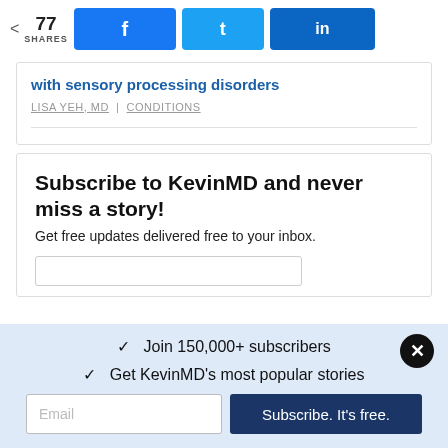77 SHARES | Facebook | Twitter | LinkedIn
with sensory processing disorders
LISA YEH, MD | CONDITIONS
Subscribe to KevinMD and never miss a story!
Get free updates delivered free to your inbox.
✓  Join 150,000+ subscribers
✓  Get KevinMD's most popular stories
Email   Subscribe. It's free.